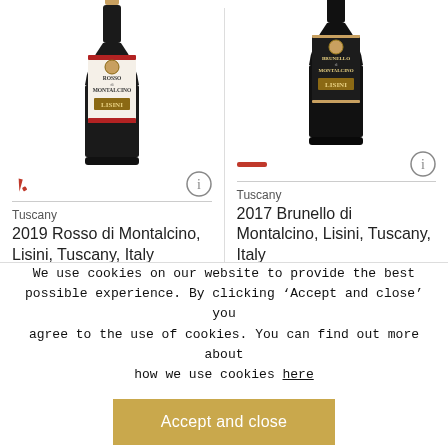[Figure (photo): Wine bottle - 2019 Rosso di Montalcino, Lisini, Tuscany, Italy]
[Figure (photo): Wine bottle - 2017 Brunello di Montalcino, Lisini, Tuscany, Italy]
Tuscany
2019 Rosso di Montalcino, Lisini, Tuscany, Italy
Tuscany
2017 Brunello di Montalcino, Lisini, Tuscany, Italy
We use cookies on our website to provide the best possible experience. By clicking ‘Accept and close’ you agree to the use of cookies. You can find out more about how we use cookies here